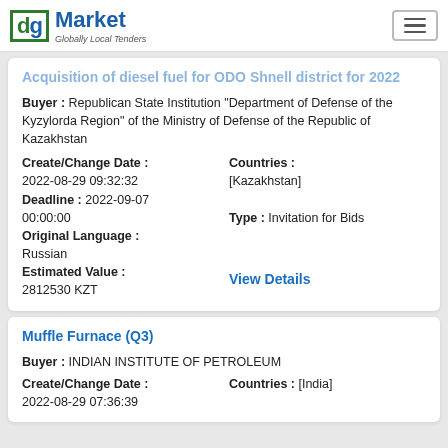dg Market — Globally Local Tenders
Acquisition of diesel fuel for ODO Shnell district for 2022
Buyer : Republican State Institution "Department of Defense of the Kyzylorda Region" of the Ministry of Defense of the Republic of Kazakhstan
Create/Change Date : 2022-08-29 09:32:32
Deadline : 2022-09-07 00:00:00
Original Language : Russian
Estimated Value : 2812530 KZT
Countries : [Kazakhstan]
Type : Invitation for Bids
View Details
Muffle Furnace (Q3)
Buyer : INDIAN INSTITUTE OF PETROLEUM
Create/Change Date : 2022-08-29 07:36:39
Countries : [India]